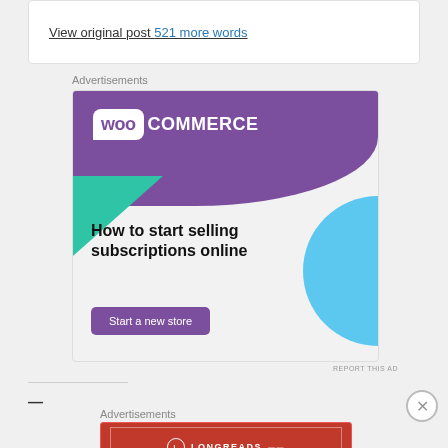View original post 521 more words
Advertisements
[Figure (illustration): WooCommerce advertisement banner with purple background, WooCommerce logo, green triangle shape, cyan/blue curved shape, headline 'How to start selling subscriptions online', and a purple 'Start a new store' button.]
REPORT THIS AD
Advertisements
[Figure (illustration): Longreads advertisement: red background with white border, Longreads logo, tagline 'The best stories on the web — ours, and everyone else's.']
REPORT THIS AD